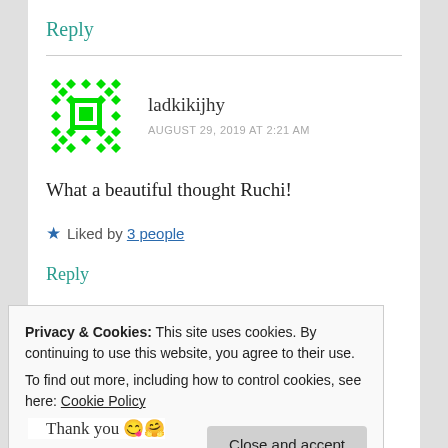Reply
[Figure (illustration): Green pixel/identicon avatar for user ladkikijhy]
ladkikijhy
AUGUST 29, 2019 AT 2:21 AM
What a beautiful thought Ruchi!
★ Liked by 3 people
Reply
Privacy & Cookies: This site uses cookies. By continuing to use this website, you agree to their use.
To find out more, including how to control cookies, see here: Cookie Policy
Close and accept
Thank you 🤩🤗